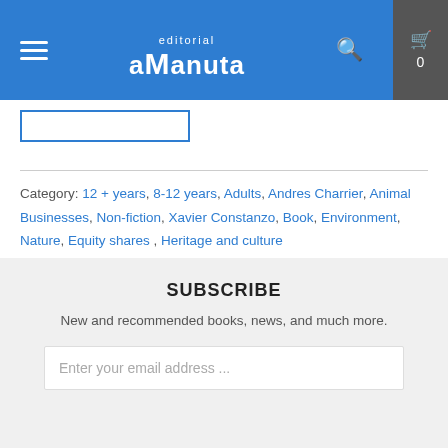editorial aManuta — navigation header
Category: 12 + years, 8-12 years, Adults, Andres Charrier, Animal Businesses, Non-fiction, Xavier Constanzo, Book, Environment, Nature, Equity shares, Heritage and culture
[Figure (other): Social share buttons: Twitter, Facebook, Pinterest, Email]
SUBSCRIBE
New and recommended books, news, and much more.
Enter your email address ...